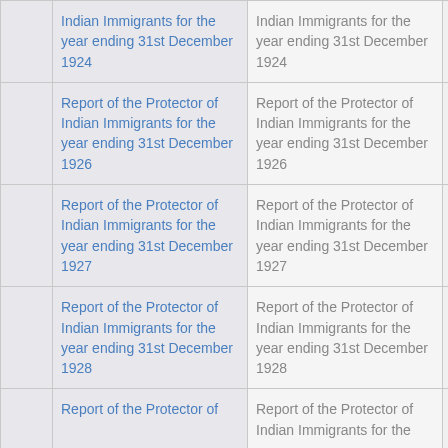|  | Title (link) | Title (text) |  |
| --- | --- | --- | --- |
|  | Report of the Protector of Indian Immigrants for the year ending 31st December 1924 | Report of the Protector of Indian Immigrants for the year ending 31st December 1924 |  |
|  | Report of the Protector of Indian Immigrants for the year ending 31st December 1926 | Report of the Protector of Indian Immigrants for the year ending 31st December 1926 |  |
|  | Report of the Protector of Indian Immigrants for the year ending 31st December 1927 | Report of the Protector of Indian Immigrants for the year ending 31st December 1927 |  |
|  | Report of the Protector of Indian Immigrants for the year ending 31st December 1928 | Report of the Protector of Indian Immigrants for the year ending 31st December 1928 |  |
|  | Report of the Protector of | Report of the Protector of Indian Immigrants for the |  |